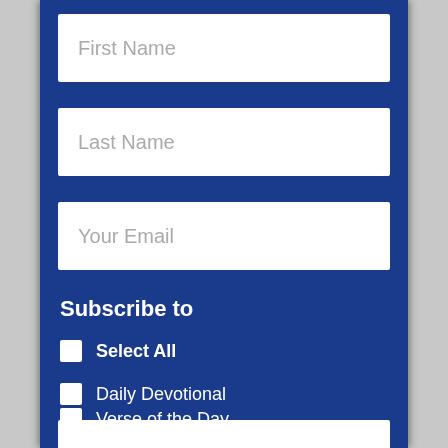First Name
Last Name
Your Email
Subscribe to
Select All
Daily Devotional
Verse of the Day
Berni Dymet Gift